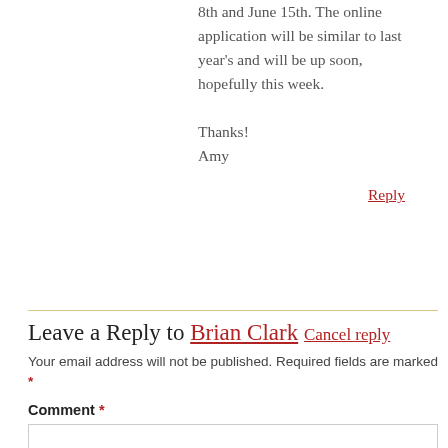We will holding the workshops the weeks of June 8th and June 15th. The online application will be similar to last year's and will be up soon, hopefully this week.

Thanks!
Amy
Reply
Leave a Reply to Brian Clark Cancel reply
Your email address will not be published. Required fields are marked *
Comment *